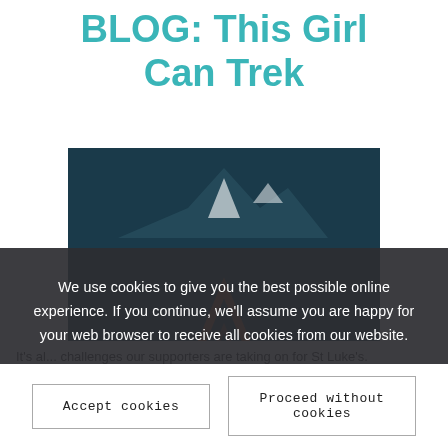BLOG: This Girl Can Trek
[Figure (logo): This Girl Can Trek logo — dark background with mountain silhouette and orange/brown chevron triangle shape with white text 'THIS GIRL CAN TREK']
We use cookies to give you the best possible online experience. If you continue, we'll assume you are happy for your web browser to receive all cookies from our website.
View how we use cookies
View how we protect your personal information
It's al... challenges our supporters are taking on for St Luke's.
Accept cookies
Proceed without cookies